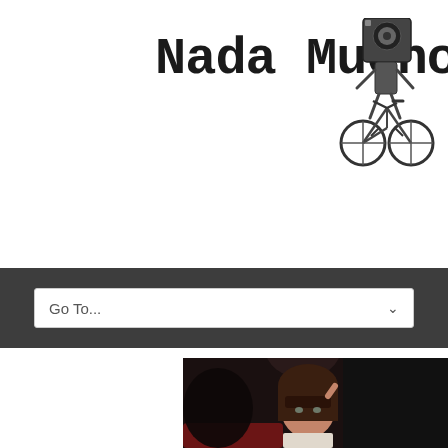[Figure (logo): Nada Mucho logo with text in bold typewriter font and a mascot illustration of a figure with a speaker for a head riding a bicycle]
[Figure (other): Navigation bar dropdown selector showing 'Go To...' with a chevron on dark gray background]
[Figure (photo): Photo of a young woman with dark hair and bangs sitting in what appears to be a bar or venue with dark walls and red booth seating, one hand raised to her head]